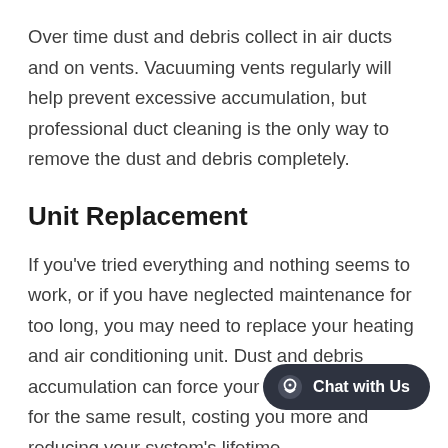Over time dust and debris collect in air ducts and on vents. Vacuuming vents regularly will help prevent excessive accumulation, but professional duct cleaning is the only way to remove the dust and debris completely.
Unit Replacement
If you've tried everything and nothing seems to work, or if you have neglected maintenance for too long, you may need to replace your heating and air conditioning unit. Dust and debris accumulation can force your unit to work harder for the same result, costing you more and reducing your system's lifetime.